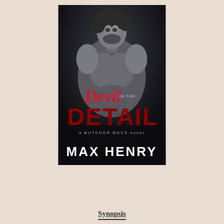[Figure (illustration): Book cover for 'Devil in the Detail: A Butcher Boys Novel' by Max Henry. Features a shirtless muscular man with dark curly hair against a dark background. Title text 'Devil' is in red cursive script, 'in the' in small white text, 'DETAIL' in large dark red distressed block letters, subtitle 'a Butcher Boys novel' in small grey text, and author name 'MAX HENRY' in large white block letters at the bottom.]
Synopsis